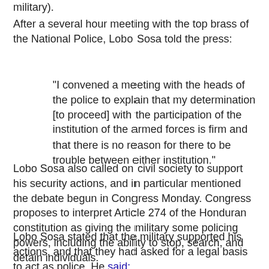military).
After a several hour meeting with the top brass of the National Police, Lobo Sosa told the press:
"I convened a meeting with the heads of the police to explain that my determination [to proceed] with the participation of the institution of the armed forces is firm and that there is no reason for there to be trouble between either institution."
Lobo Sosa also called on civil society to support his security actions, and in particular mentioned the debate begun in Congress Monday. Congress proposes to interpret Article 274 of the Honduran constitution as giving the military some policing powers, including the ability to stop, search, and detain individuals.
Lobo Sosa stated that the military supported his actions, and that they had asked for a legal basis to act as police. He said: